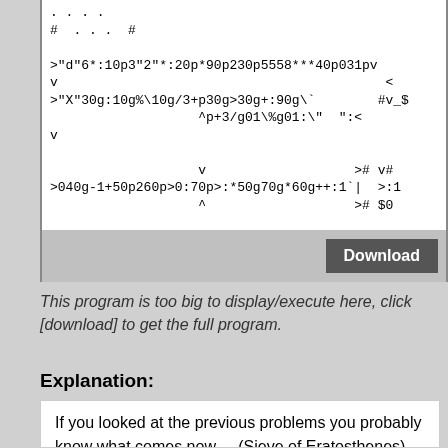[Figure (screenshot): Code block showing Befunge/esoteric programming language source code with characters like ., #, >, v, <, ^]
Download
This program is too big to display/execute here, click [download] to get the full program.
Explanation:
If you looked at the previous problems you probably know what comes now ... (Sieve of Eratosthenes) [https://en.wikipedia.org/wiki/Sieve_of_Eratosthenes]. To lower the amount of A-B combinations we have to check here are 2 rules I found out: